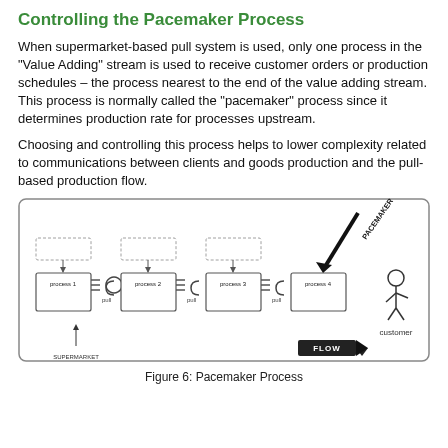Controlling the Pacemaker Process
When supermarket-based pull system is used, only one process in the "Value Adding" stream is used to receive customer orders or production schedules – the process nearest to the end of the value adding stream. This process is normally called the "pacemaker" process since it determines production rate for processes upstream.
Choosing and controlling this process helps to lower complexity related to communications between clients and goods production and the pull-based production flow.
[Figure (flowchart): Value stream map showing four processes (process 1, process 2, process 3, process 4) connected via pull systems (pull symbols/kanban loops) with supermarket at bottom left and FLOW arrow at bottom right leading to customer. A PACEMAKER arrow points down to process 4.]
Figure 6: Pacemaker Process